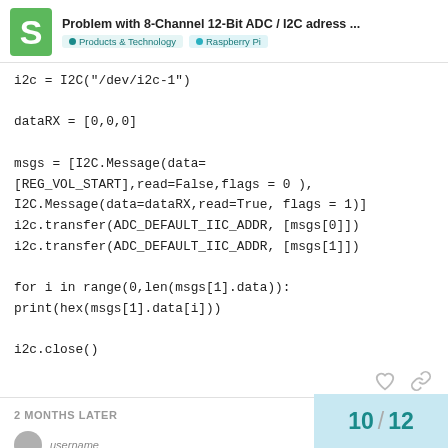Problem with 8-Channel 12-Bit ADC / I2C adress ... | Products & Technology | Raspberry Pi
i2c = I2C("/dev/i2c-1")

dataRX = [0,0,0]

msgs = [I2C.Message(data=
[REG_VOL_START],read=False,flags = 0 ),
I2C.Message(data=dataRX,read=True, flags = 1)]
i2c.transfer(ADC_DEFAULT_IIC_ADDR, [msgs[0]])
i2c.transfer(ADC_DEFAULT_IIC_ADDR, [msgs[1]])

for i in range(0,len(msgs[1].data)):
print(hex(msgs[1].data[i]))

i2c.close()
2 MONTHS LATER
10 / 12